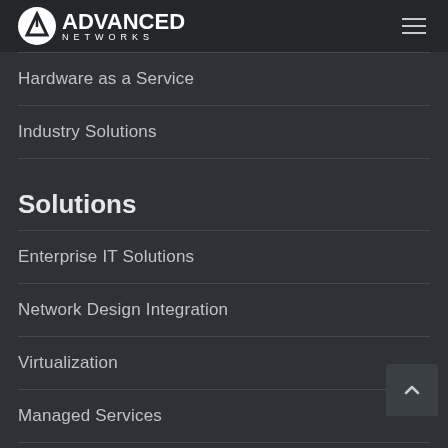Advanced Networks
Hardware as a Service
Industry Solutions
Solutions
Enterprise IT Solutions
Network Design Integration
Virtualization
Managed Services
Business Continuity Planning